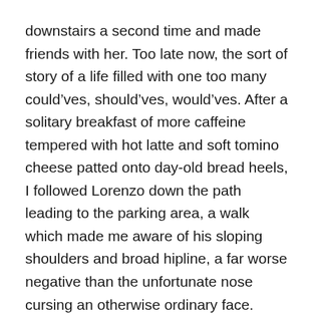downstairs a second time and made friends with her. Too late now, the sort of story of a life filled with one too many could'ves, should'ves, would'ves. After a solitary breakfast of more caffeine tempered with hot latte and soft tomino cheese patted onto day-old bread heels, I followed Lorenzo down the path leading to the parking area, a walk which made me aware of his sloping shoulders and broad hipline, a far worse negative than the unfortunate nose cursing an otherwise ordinary face.
I found the calico cat perched on the hood of my rental but didn't see the Persian. “Here kitty, kitty, kitty,” I called out.
Zero response. The creature was either dead or didn't capice my English. Next time, if ever there'd be another trip to Italy, I vowed to learn a few more key Italian phrases instead of relying on Margo who listened to language